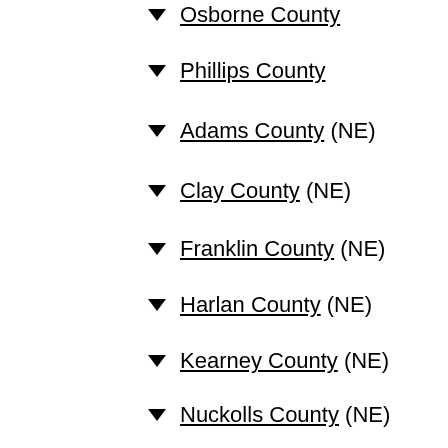▼ Osborne County
▼ Phillips County
▼ Adams County (NE)
▼ Clay County (NE)
▼ Franklin County (NE)
▼ Harlan County (NE)
▼ Kearney County (NE)
▼ Nuckolls County (NE)
▼ Webster County (NE)
For an expanded list of the communities that are closest to Womer, see our County-by-County Page for Womer.